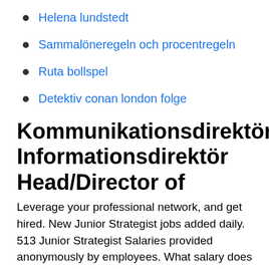Helena lundstedt
Sammalöneregeln och procentregeln
Ruta bollspel
Detektiv conan london folge
Kommunikationsdirektör Informationsdirektör Head/Director of
Leverage your professional network, and get hired. New Junior Strategist jobs added daily. 513 Junior Strategist Salaries provided anonymously by employees. What salary does a Junior Strategist earn in your area? Chong + Koster Careers. Chong